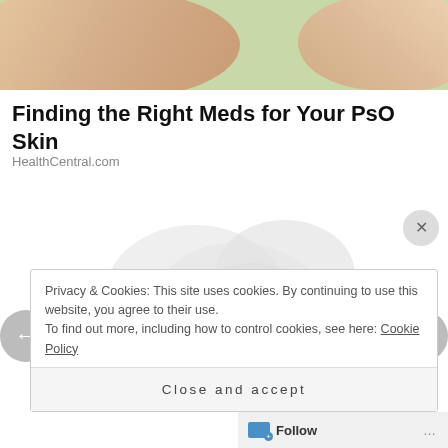[Figure (photo): Close-up photo of hands against a light green/yellow background, partially cropped at top of page]
Finding the Right Meds for Your PsO Skin
HealthCentral.com
[Figure (illustration): Faint watermark-style illustration of hands in grey tones]
Privacy & Cookies: This site uses cookies. By continuing to use this website, you agree to their use.
To find out more, including how to control cookies, see here: Cookie Policy
Close and accept
Follow